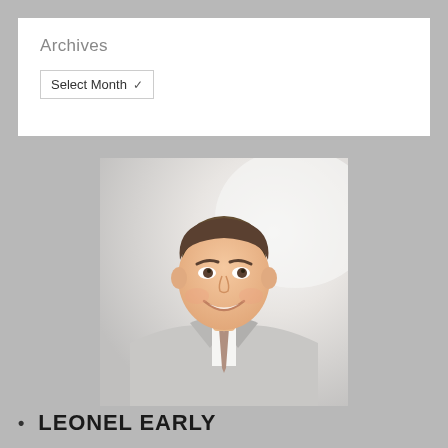Archives
Select Month
[Figure (photo): Professional headshot of a young man in a light grey suit with a beige tie, smiling, with a blurred bright background]
LEONEL EARLY